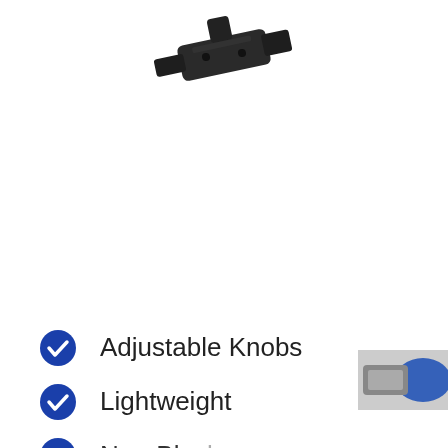[Figure (photo): A dark/black mechanical hardware component (clip or mounting bracket) photographed against a white background, shown at the top of the page.]
Adjustable Knobs
Lightweight
Non-Blac...
[Figure (photo): A partial thumbnail image visible in the bottom-right corner showing a blue and grey product.]